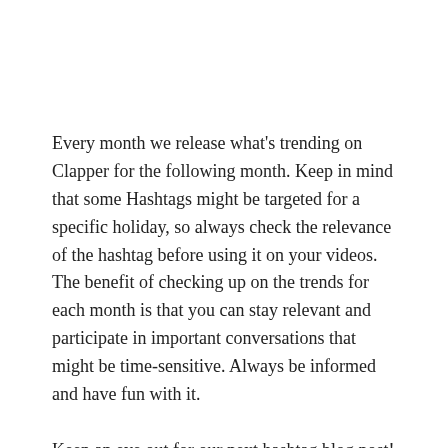Every month we release what's trending on Clapper for the following month. Keep in mind that some Hashtags might be targeted for a specific holiday, so always check the relevance of the hashtag before using it on your videos. The benefit of checking up on the trends for each month is that you can stay relevant and participate in important conversations that might be time-sensitive. Always be informed and have fun with it.
Keep an eye out for our next hashtag blog post!
For our current App Updates tap here!